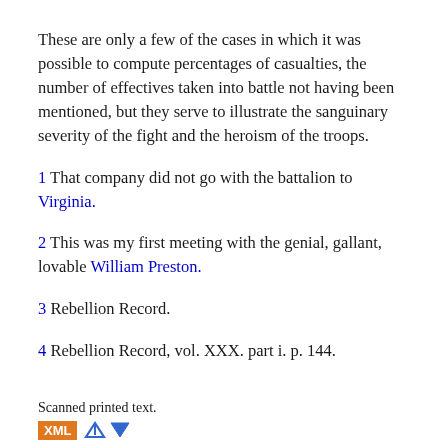These are only a few of the cases in which it was possible to compute percentages of casualties, the number of effectives taken into battle not having been mentioned, but they serve to illustrate the sanguinary severity of the fight and the heroism of the troops.
1 That company did not go with the battalion to Virginia.
2 This was my first meeting with the genial, gallant, lovable William Preston.
3 Rebellion Record.
4 Rebellion Record, vol. XXX. part i. p. 144.
Scanned printed text. XML ◄ ►